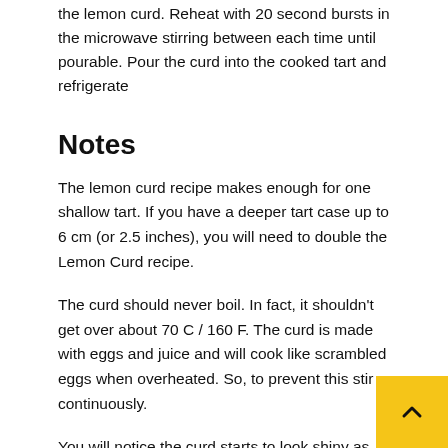the lemon curd. Reheat with 20 second bursts in the microwave stirring between each time until pourable. Pour the curd into the cooked tart and refrigerate
Notes
The lemon curd recipe makes enough for one shallow tart. If you have a deeper tart case up to 6 cm (or 2.5 inches), you will need to double the Lemon Curd recipe.
The curd should never boil. In fact, it shouldn't get over about 70 C / 160 F. The curd is made with eggs and juice and will cook like scrambled eggs when overheated. So, to prevent this stir continuously.
You will notice the curd starts to look shiny as the sugar melts and it will start to thicken. It will feel noticeably more viscous but will not thicken greatly. It will coat the back of a spoon. The butter will cool the mixture down a bit. Once the curd is chilled it will set.